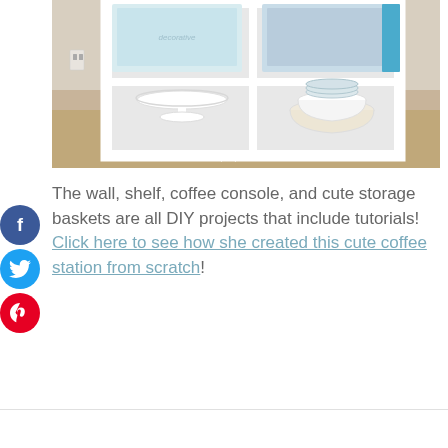[Figure (photo): White shelf/console unit displaying a white cake stand and stacked bowls, with decorative items on top shelf. Watermark reads housefulofhandmade.com]
The wall, shelf, coffee console, and cute storage baskets are all DIY projects that include tutorials! Click here to see how she created this cute coffee station from scratch!